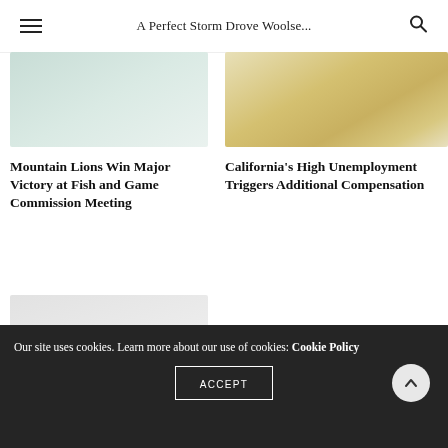A Perfect Storm Drove Woolse...
[Figure (photo): Blurred greenish-white photo placeholder for Mountain Lions article]
[Figure (photo): Blurred yellowish photo placeholder for California Unemployment article]
Mountain Lions Win Major Victory at Fish and Game Commission Meeting
California's High Unemployment Triggers Additional Compensation
[Figure (photo): Blurred light gray photo placeholder]
Our site uses cookies. Learn more about our use of cookies: Cookie Policy
ACCEPT